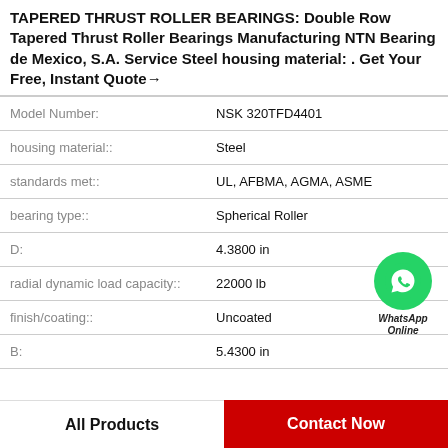TAPERED THRUST ROLLER BEARINGS: Double Row Tapered Thrust Roller Bearings Manufacturing NTN Bearing de Mexico, S.A. Service Steel housing material: . Get Your Free, Instant Quote→
| Property | Value |
| --- | --- |
| Model Number: | NSK 320TFD4401 |
| housing material:: | Steel |
| standards met:: | UL, AFBMA, AGMA, ASME |
| bearing type:: | Spherical Roller |
| D: | 4.3800 in |
| radial dynamic load capacity:: | 22000 lb |
| finish/coating:: | Uncoated |
| B: | 5.4300 in |
[Figure (logo): WhatsApp Online green bubble icon with label]
All Products | Contact Now